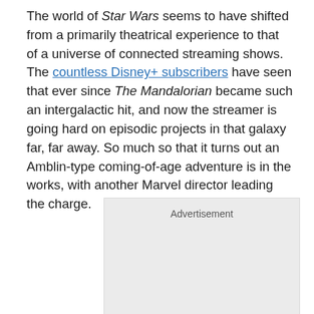The world of Star Wars seems to have shifted from a primarily theatrical experience to that of a universe of connected streaming shows. The countless Disney+ subscribers have seen that ever since The Mandalorian became such an intergalactic hit, and now the streamer is going hard on episodic projects in that galaxy far, far away. So much so that it turns out an Amblin-type coming-of-age adventure is in the works, with another Marvel director leading the charge.
[Figure (other): Advertisement placeholder box with light gray background]